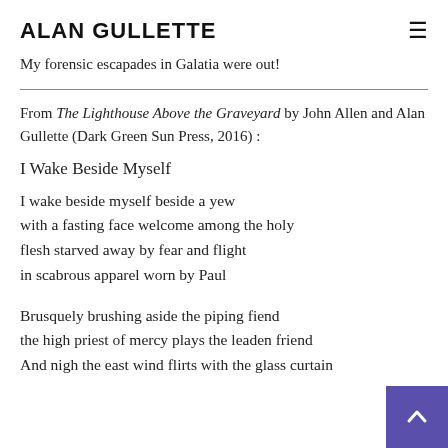ALAN GULLETTE
My forensic escapades in Galatia were out!
From The Lighthouse Above the Graveyard by John Allen and Alan Gullette (Dark Green Sun Press, 2016) :
I Wake Beside Myself
I wake beside myself beside a yew
with a fasting face welcome among the holy
flesh starved away by fear and flight
in scabrous apparel worn by Paul
Brusquely brushing aside the piping fiend
the high priest of mercy plays the leaden friend
And nigh the east wind flirts with the glass curtain